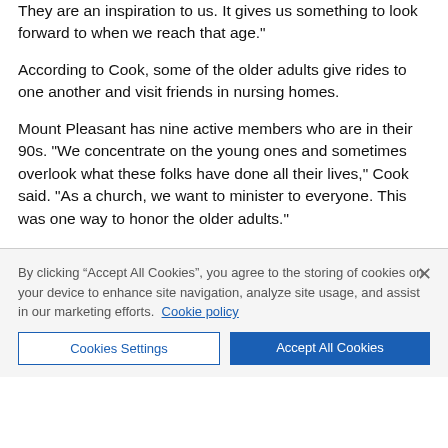They are an inspiration to us. It gives us something to look forward to when we reach that age."
According to Cook, some of the older adults give rides to one another and visit friends in nursing homes.
Mount Pleasant has nine active members who are in their 90s. "We concentrate on the young ones and sometimes overlook what these folks have done all their lives," Cook said. "As a church, we want to minister to everyone. This was one way to honor the older adults."
AT A GLANCE
Mount Pleasant United Methodist Church | 645 W. Main St.,
By clicking “Accept All Cookies”, you agree to the storing of cookies on your device to enhance site navigation, analyze site usage, and assist in our marketing efforts. Cookie policy
Cookies Settings
Accept All Cookies